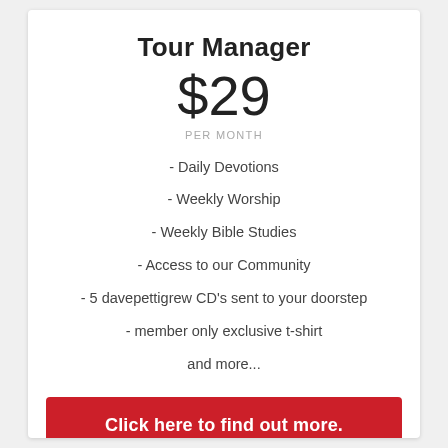Tour Manager
$29
PER MONTH
- Daily Devotions
- Weekly Worship
- Weekly Bible Studies
- Access to our Community
- 5 davepettigrew CD's sent to your doorstep
- member only exclusive t-shirt
and more...
Click here to find out more.